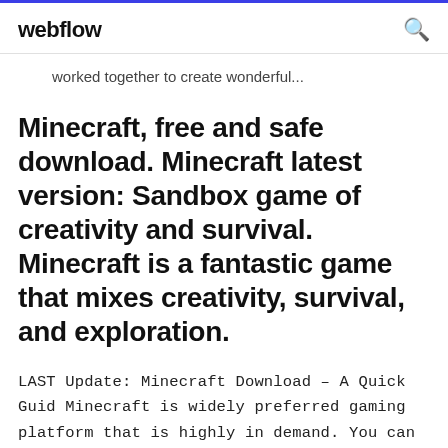webflow
worked together to create wonderful...
Minecraft, free and safe download. Minecraft latest version: Sandbox game of creativity and survival. Minecraft is a fantastic game that mixes creativity, survival, and exploration.
LAST Update: Minecraft Download – A Quick Guid Minecraft is widely preferred gaming platform that is highly in demand. You can find Minecraft trending in 2018; even the Fortnite is